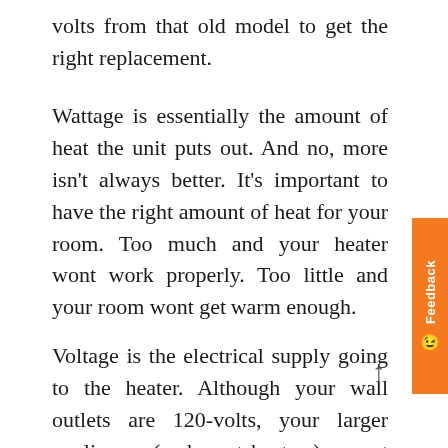volts from that old model to get the right replacement.
Wattage is essentially the amount of heat the unit puts out. And no, more isn't always better. It's important to have the right amount of heat for your room. Too much and your heater wont work properly. Too little and your room wont get warm enough.
Voltage is the electrical supply going to the heater. Although your wall outlets are 120-volts, your larger appliances (and most heaters) are set up for 240-volts. These two aren't interchangeable. If you hook up a 120-volt heater to a 240-volt supply, it will quickly fail. If you hook up a 240-volt heater to a 120-volt supply it